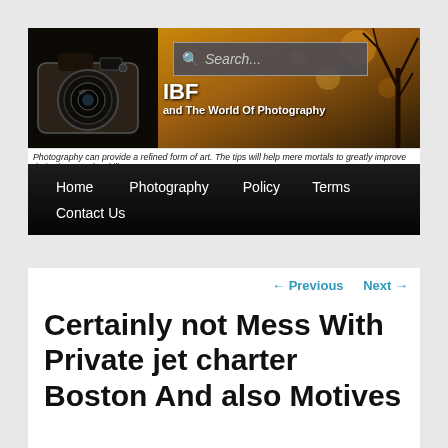[Figure (screenshot): Photography blog banner with camera image on left, site title 'IBF and The World Of Photography', search box overlay, and golden/brown bokeh background with bare tree silhouette on right]
Photography can provide a refined form of art. The tips will help mere mortals to greatly improve their photography skills
Home   Photography   Policy   Terms   Contact Us
← Previous   Next →
Certainly not Mess With Private jet charter Boston And also Motives